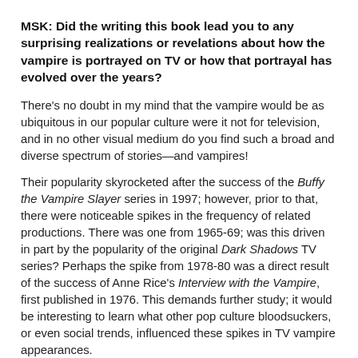MSK: Did the writing this book lead you to any surprising realizations or revelations about how the vampire is portrayed on TV or how that portrayal has evolved over the years?
There's no doubt in my mind that the vampire would be as ubiquitous in our popular culture were it not for television, and in no other visual medium do you find such a broad and diverse spectrum of stories—and vampires!
Their popularity skyrocketed after the success of the Buffy the Vampire Slayer series in 1997; however, prior to that, there were noticeable spikes in the frequency of related productions. There was one from 1965-69; was this driven in part by the popularity of the original Dark Shadows TV series? Perhaps the spike from 1978-80 was a direct result of the success of Anne Rice's Interview with the Vampire, first published in 1976. This demands further study; it would be interesting to learn what other pop culture bloodsuckers, or even social trends, influenced these spikes in TV vampire appearances.